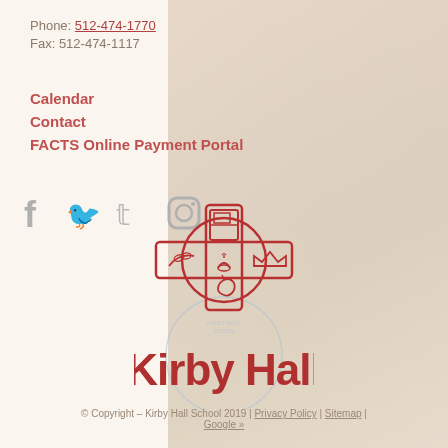Phone: 512-474-1770
Fax: 512-474-1117
Calendar
Contact
FACTS Online Payment Portal
[Figure (logo): Kirby Hall School logo with Celtic cross and Kirby Hall text]
© Copyright – Kirby Hall School 2019 | Privacy Policy | Sitemap | Google »